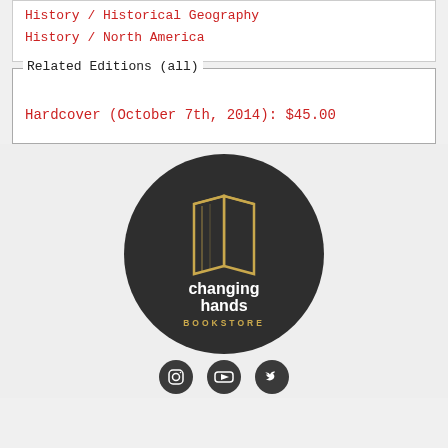History / Historical Geography
History / North America
Related Editions (all)
Hardcover (October 7th, 2014): $45.00
[Figure (logo): Changing Hands Bookstore logo: dark circle with gold book icon, white text 'changing hands' and gold 'BOOKSTORE']
[Figure (other): Three social media icons (Instagram, YouTube/play, Twitter) in dark circles]